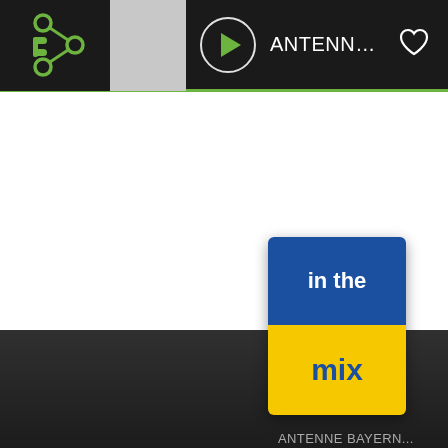[Figure (screenshot): Radio app player bar with logo, gray thumbnail, play button, station name ANTENNE BAYERN in the ..., and heart icon on dark background]
Top Stations   Near You   Genres   Topics
[Figure (logo): ANTENNE BAYERN in the mix logo - blue top half with white text 'in the', yellow bottom half with blue text 'mix']
ANTENNE BAYERN...
ANTENNE BAYERN...